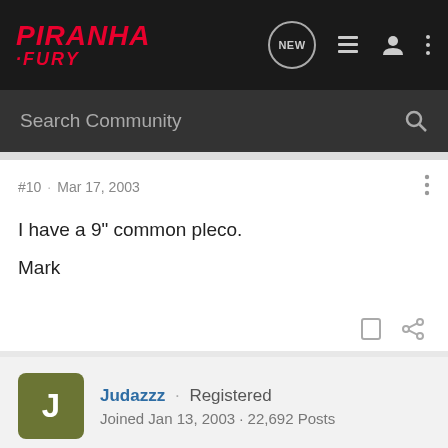PIRANHA FURY — forum navigation bar with search
#10 · Mar 17, 2003
I have a 9" common pleco.

Mark
Judazzz · Registered
Joined Jan 13, 2003 · 22,692 Posts
#11 · Mar 17, 2003